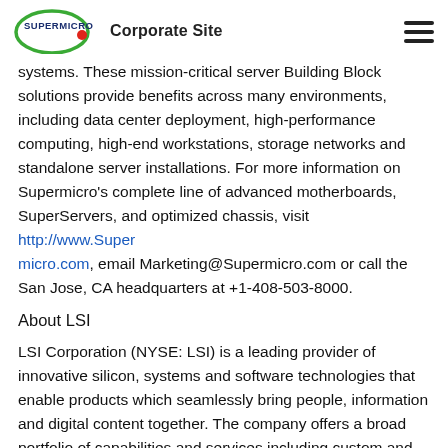Supermicro Corporate Site
systems. These mission-critical server Building Block solutions provide benefits across many environments, including data center deployment, high-performance computing, high-end workstations, storage networks and standalone server installations. For more information on Supermicro's complete line of advanced motherboards, SuperServers, and optimized chassis, visit http://www.Supermicro.com, email Marketing@Supermicro.com or call the San Jose, CA headquarters at +1-408-503-8000.
About LSI
LSI Corporation (NYSE: LSI) is a leading provider of innovative silicon, systems and software technologies that enable products which seamlessly bring people, information and digital content together. The company offers a broad portfolio of capabilities and services including custom and standard product ICs, adapters,